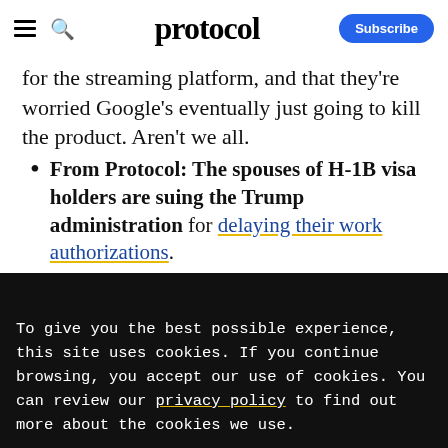protocol
for the streaming platform, and that they're worried Google's eventually just going to kill the product. Aren't we all.
From Protocol: The spouses of H-1B visa holders are suing the Trump administration for delaying their work authorizations.
To give you the best possible experience, this site uses cookies. If you continue browsing, you accept our use of cookies. You can review our privacy policy to find out more about the cookies we use.
Accept